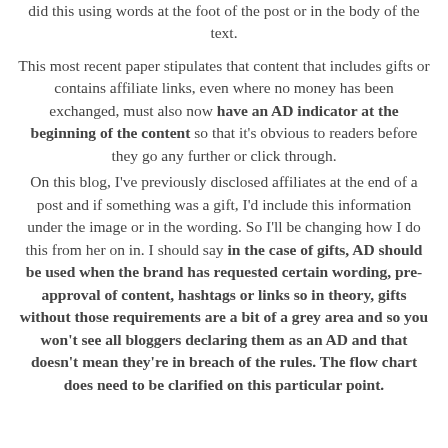did this using words at the foot of the post or in the body of the text.
This most recent paper stipulates that content that includes gifts or contains affiliate links, even where no money has been exchanged, must also now have an AD indicator at the beginning of the content so that it's obvious to readers before they go any further or click through.
On this blog, I've previously disclosed affiliates at the end of a post and if something was a gift, I'd include this information under the image or in the wording. So I'll be changing how I do this from her on in. I should say in the case of gifts, AD should be used when the brand has requested certain wording, pre-approval of content, hashtags or links so in theory, gifts without those requirements are a bit of a grey area and so you won't see all bloggers declaring them as an AD and that doesn't mean they're in breach of the rules. The flow chart does need to be clarified on this particular point.